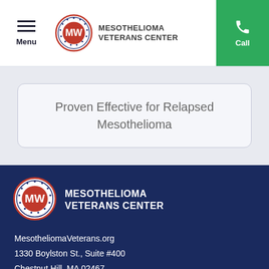Menu | MESOTHELIOMA VETERANS CENTER | Call
Proven Effective for Relapsed Mesothelioma
[Figure (logo): Mesothelioma Veterans Center logo with MW emblem in footer]
MESOTHELIOMA VETERANS CENTER
MesotheliomaVeterans.org
1330 Boylston St., Suite #400
Chestnut Hill, MA 02467
contact@mesotheliomaveterans.org
Tap to call now
(855) 964-4875